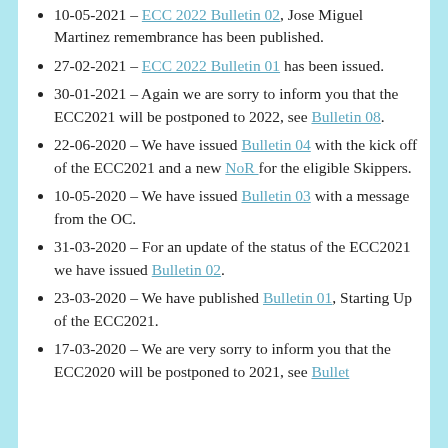10-05-2021 – ECC 2022 Bulletin 02, Jose Miguel Martinez remembrance has been published.
27-02-2021 – ECC 2022 Bulletin 01 has been issued.
30-01-2021 – Again we are sorry to inform you that the ECC2021 will be postponed to 2022, see Bulletin 08.
22-06-2020 – We have issued Bulletin 04 with the kick off of the ECC2021 and a new NoR for the eligible Skippers.
10-05-2020 – We have issued Bulletin 03 with a message from the OC.
31-03-2020 – For an update of the status of the ECC2021 we have issued Bulletin 02.
23-03-2020 – We have published Bulletin 01, Starting Up of the ECC2021.
17-03-2020 – We are very sorry to inform you that the ECC2020 will be postponed to 2021, see Bulletin 02.